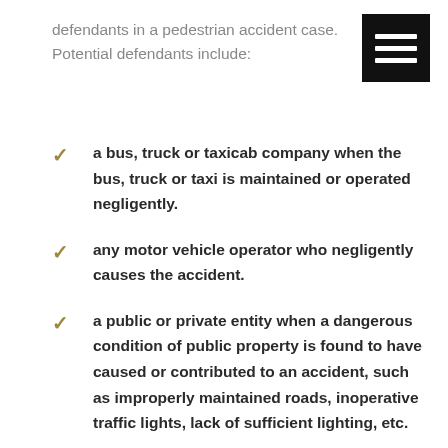defendants in a pedestrian accident case. Potential defendants include:
[Figure (other): Black square icon with three horizontal white bars (hamburger/menu icon)]
a bus, truck or taxicab company when the bus, truck or taxi is maintained or operated negligently.
any motor vehicle operator who negligently causes the accident.
a public or private entity when a dangerous condition of public property is found to have caused or contributed to an accident, such as improperly maintained roads, inoperative traffic lights, lack of sufficient lighting, etc.